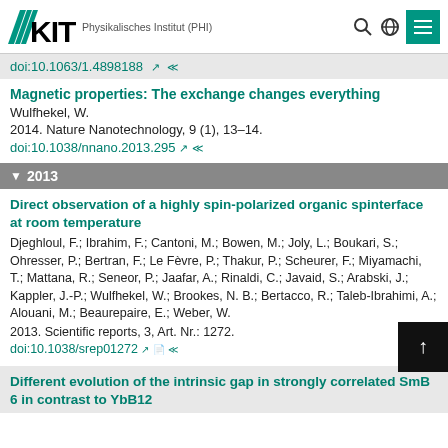KIT Physikalisches Institut (PHI)
doi:10.1063/1.4898188
Magnetic properties: The exchange changes everything
Wulfhekel, W.
2014. Nature Nanotechnology, 9 (1), 13–14.
doi:10.1038/nnano.2013.295
2013
Direct observation of a highly spin-polarized organic spinterface at room temperature
Djeghloul, F.; Ibrahim, F.; Cantoni, M.; Bowen, M.; Joly, L.; Boukari, S.; Ohresser, P.; Bertran, F.; Le Fèvre, P.; Thakur, P.; Scheurer, F.; Miyamachi, T.; Mattana, R.; Seneor, P.; Jaafar, A.; Rinaldi, C.; Javaid, S.; Arabski, J.; Kappler, J.-P.; Wulfhekel, W.; Brookes, N. B.; Bertacco, R.; Taleb-Ibrahimi, A.; Alouani, M.; Beaurepaire, E.; Weber, W.
2013. Scientific reports, 3, Art. Nr.: 1272.
doi:10.1038/srep01272
Different evolution of the intrinsic gap in strongly correlated SmB 6 in contrast to YbB12